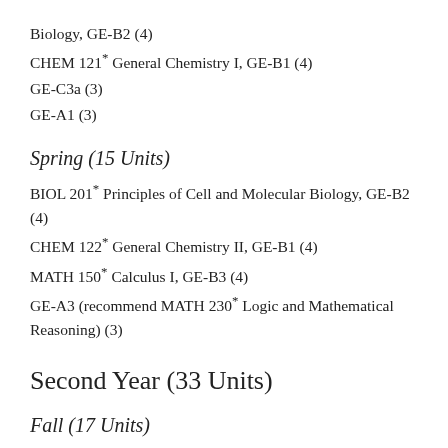Biology, GE-B2 (4)
CHEM 121* General Chemistry I, GE-B1 (4)
GE-C3a (3)
GE-A1 (3)
Spring (15 Units)
BIOL 201* Principles of Cell and Molecular Biology, GE-B2 (4)
CHEM 122* General Chemistry II, GE-B1 (4)
MATH 150* Calculus I, GE-B3 (4)
GE-A3 (recommend MATH 230* Logic and Mathematical Reasoning) (3)
Second Year (33 Units)
Fall (17 Units)